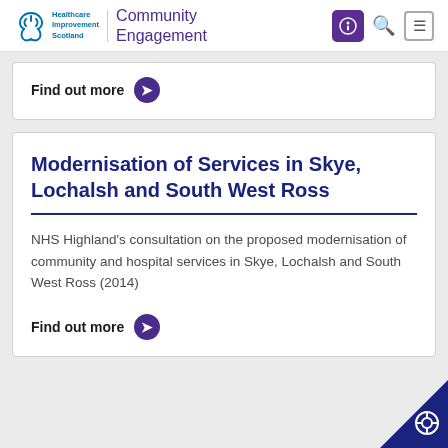Healthcare Improvement Scotland | Community Engagement
Find out more
Modernisation of Services in Skye, Lochalsh and South West Ross
NHS Highland's consultation on the proposed modernisation of community and hospital services in Skye, Lochalsh and South West Ross (2014)
Find out more